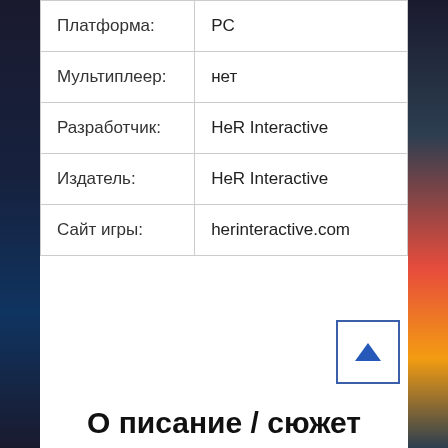| Платформа: | PC |
| Мультиплеер: | нет |
| Разработчик: | HeR Interactive |
| Издатель: | HeR Interactive |
| Сайт игры: | herinteractive.com |
О писание / сюжет